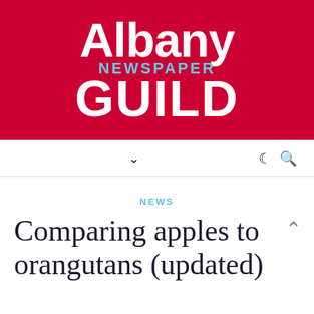[Figure (logo): Albany Newspaper Guild logo on red background with white bold text 'Albany' and 'GUILD' and light blue text 'NEWSPAPER']
▾  ☾ 🔍
NEWS
Comparing apples to orangutans (updated)